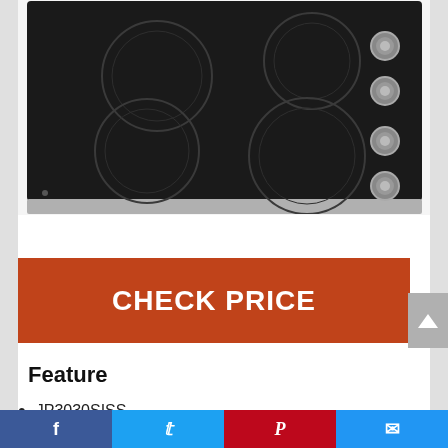[Figure (photo): Black electric ceramic cooktop with 4 burner circles and 4 silver control knobs on the right side, stainless steel trim at the bottom edge]
CHECK PRICE
Feature
JP3030SISS